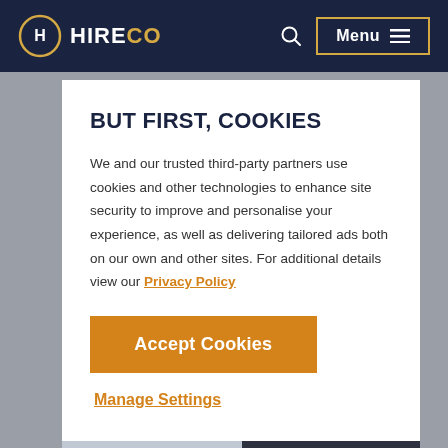HIRECO — Menu
BUT FIRST, COOKIES
We and our trusted third-party partners use cookies and other technologies to enhance site security to improve and personalise your experience, as well as delivering tailored ads both on our own and other sites. For additional details view our Privacy Policy
Accept Cookies
Manage Settings
[Figure (photo): Truck cab photograph visible at bottom of page]